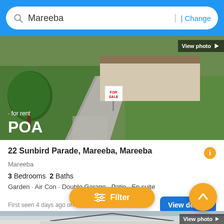[Figure (screenshot): Search bar with 'Mareeba' text and 'Change' button on blue background]
[Figure (photo): Property photo showing gravel driveway, lawn, for sale sign, with 'for rent' and 'POA' overlaid in white text and 'View photo' button top right]
22 Sunbird Parade, Mareeba, Mareeba
Mareeba
3 Bedrooms  2 Baths
Garden · Air Con · Double Garage · Patio · En suite
First seen 4 days ago on Domain
View details
[Figure (photo): Property photo showing house exterior with cloudy sky, for sale sign, with Filter button and scroll-up button and View photo button overlay]